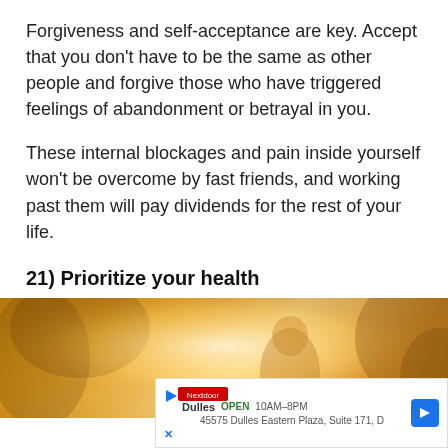Forgiveness and self-acceptance are key. Accept that you don't have to be the same as other people and forgive those who have triggered feelings of abandonment or betrayal in you.
These internal blockages and pain inside yourself won't be overcome by fast friends, and working past them will pay dividends for the rest of your life.
21) Prioritize your health
[Figure (photo): Warm orange-tinted photo of people outdoors in sunlight, partially visible, with an advertisement banner overlay at the bottom showing Dulles store information.]